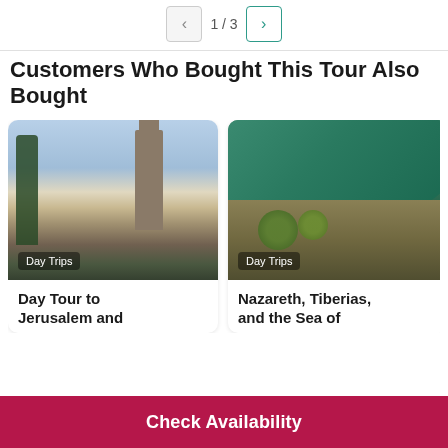1 / 3
Customers Who Bought This Tour Also Bought
[Figure (photo): Photo of a church tower and stone buildings in Jerusalem, with cypress trees on the left. Badge reads: Day Trips]
Day Tour to Jerusalem and
[Figure (photo): Aerial photo of the Sea of Galilee shoreline with green trees and buildings. Badge reads: Day Trips]
Nazareth, Tiberias, and the Sea of
Check Availability